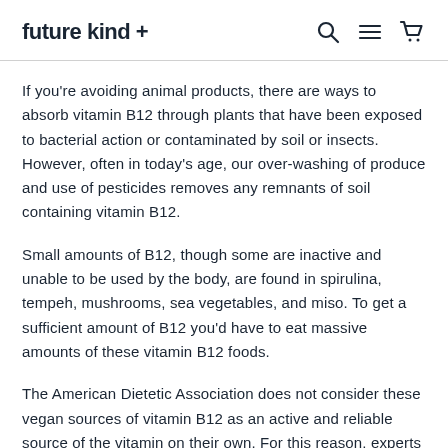future kind +
If you're avoiding animal products, there are ways to absorb vitamin B12 through plants that have been exposed to bacterial action or contaminated by soil or insects. However, often in today's age, our over-washing of produce and use of pesticides removes any remnants of soil containing vitamin B12.
Small amounts of B12, though some are inactive and unable to be used by the body, are found in spirulina, tempeh, mushrooms, sea vegetables, and miso. To get a sufficient amount of B12 you'd have to eat massive amounts of these vitamin B12 foods.
The American Dietetic Association does not consider these vegan sources of vitamin B12 as an active and reliable source of the vitamin on their own. For this reason, experts suggest vegans incorporate a B12